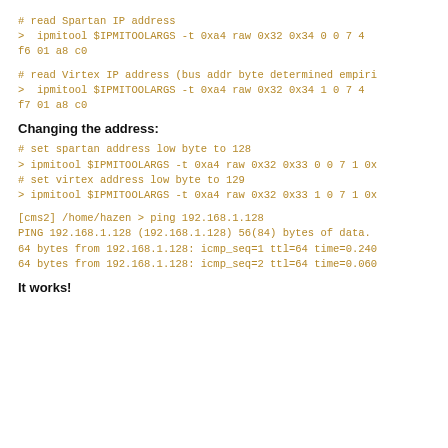# read Spartan IP address
> ipmitool $IPMITOOLARGS -t 0xa4 raw 0x32 0x34 0 0 7 4
f6 01 a8 c0
# read Virtex IP address (bus addr byte determined empiri
> ipmitool $IPMITOOLARGS -t 0xa4 raw 0x32 0x34 1 0 7 4
f7 01 a8 c0
Changing the address:
# set spartan address low byte to 128
> ipmitool $IPMITOOLARGS -t 0xa4 raw 0x32 0x33 0 0 7 1 0x
# set virtex address low byte to 129
> ipmitool $IPMITOOLARGS -t 0xa4 raw 0x32 0x33 1 0 7 1 0x
[cms2] /home/hazen > ping 192.168.1.128
PING 192.168.1.128 (192.168.1.128) 56(84) bytes of data.
64 bytes from 192.168.1.128: icmp_seq=1 ttl=64 time=0.240
64 bytes from 192.168.1.128: icmp_seq=2 ttl=64 time=0.060
It works!